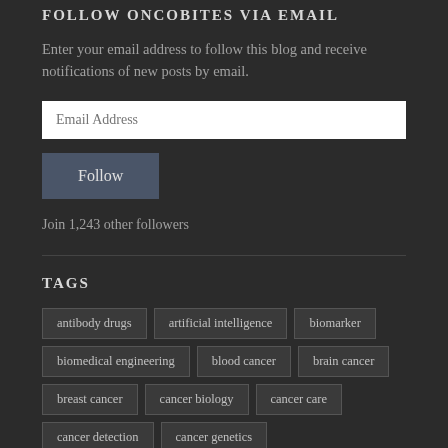FOLLOW ONCOBITES VIA EMAIL
Enter your email address to follow this blog and receive notifications of new posts by email.
Email Address
Follow
Join 1,243 other followers
TAGS
antibody drugs
artificial intelligence
biomarker
biomedical engineering
blood cancer
brain cancer
breast cancer
cancer biology
cancer care
cancer detection
cancer genetics
cancer immunotherapy
cancer metabolism